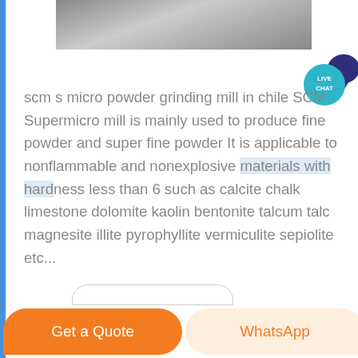[Figure (photo): Partial photo of industrial grinding mill machinery, gray tones, top portion visible]
scm s micro powder grinding mill in chile SCM Supermicro mill is mainly used to produce fine powder and super fine powder It is applicable to nonflammable and nonexplosive materials with hardness less than 6 such as calcite chalk limestone dolomite kaolin bentonite talcum talc magnesite illite pyrophyllite vermiculite sepiolite etc...
[Figure (other): Live Chat bubble icon in teal/dark blue colors with LIVE CHAT text]
Get a Quote    WhatsApp